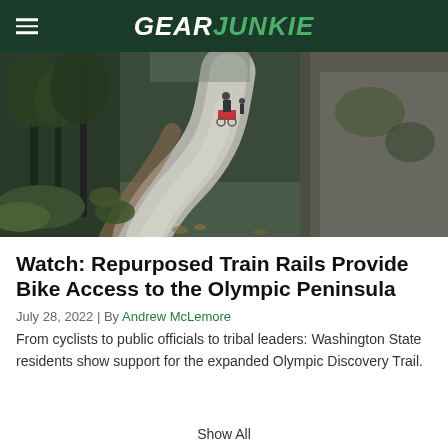GearJunkie
[Figure (photo): A winding paved trail through a forested area with a cyclist or cart visible in the distance on the Olympic Discovery Trail]
Watch: Repurposed Train Rails Provide Bike Access to the Olympic Peninsula
July 28, 2022 | By Andrew McLemore
From cyclists to public officials to tribal leaders: Washington State residents show support for the expanded Olympic Discovery Trail.
Show All